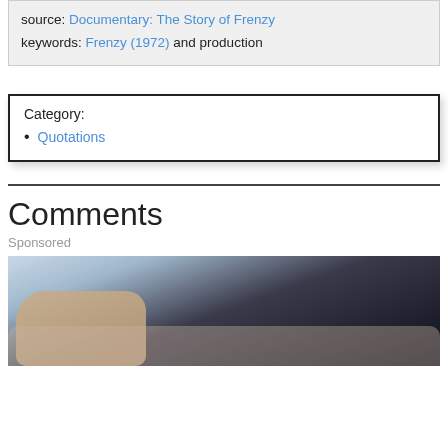source: Documentary: The Story of Frenzy
keywords: Frenzy (1972) and production
Category:
Quotations
Comments
Sponsored
[Figure (photo): A person's hand and arm resting on a surface, dark background clothing visible.]